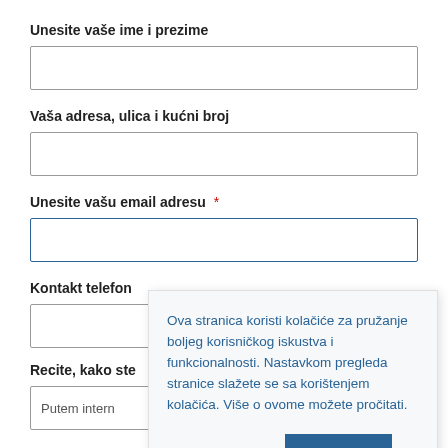Unesite vaše ime i prezime
[Figure (screenshot): Empty text input field for name and surname]
Vaša adresa, ulica i kućni broj
[Figure (screenshot): Empty text input field for address]
Unesite vašu email adresu *
[Figure (screenshot): Empty text input field for email (partially visible)]
Kontakt telefon
[Figure (screenshot): Empty small input field for phone (partially visible)]
Recite, kako ste
[Figure (screenshot): Dropdown input showing 'Putem intern' (partially visible)]
Ova stranica koristi kolačiće za pružanje boljeg korisničkog iskustva i funkcionalnosti. Nastavkom pregleda stranice slažete se sa korištenjem kolačića. Više o ovome možete pročitati.
Postavke kolačića
PRIHVATI